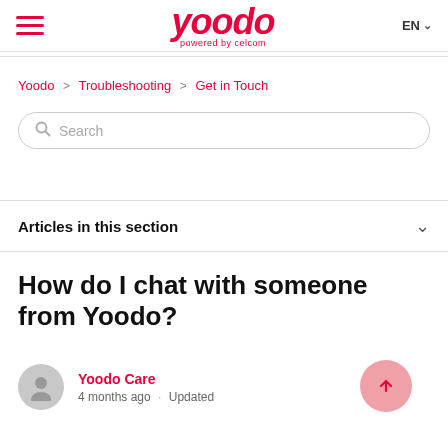yoodo powered by celcom — EN
Yoodo > Troubleshooting > Get in Touch
Search
Articles in this section
How do I chat with someone from Yoodo?
Yoodo Care
4 months ago · Updated